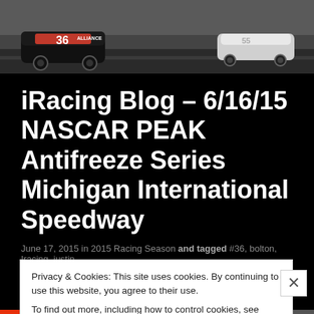[Figure (photo): NASCAR race cars on track, including car #36 with Alliance livery in black and red, and a white Ford Mustang in the background]
iRacing Blog – 6/16/15 NASCAR PEAK Antifreeze Series Michigan International Speedway
June 17, 2015 in 2015 Racing Season and tagged #36, bolton, Iracing, justin
Privacy & Cookies: This site uses cookies. By continuing to use this website, you agree to their use.
To find out more, including how to control cookies, see here: Cookie Policy
Close and accept